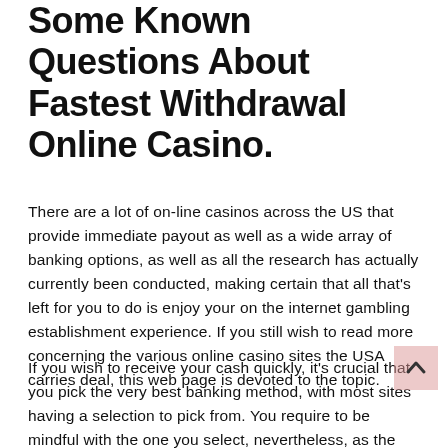Some Known Questions About Fastest Withdrawal Online Casino.
There are a lot of on-line casinos across the US that provide immediate payout as well as a wide array of banking options, as well as all the research has actually currently been conducted, making certain that all that's left for you to do is enjoy your on the internet gambling establishment experience. If you still wish to read more concerning the various online casino sites the USA carries deal, this web page is devoted to the topic.
If you wish to receive your cash quickly, it's crucial that you pick the very best banking method, with most sites having a selection to pick from. You require to be mindful with the one you select, nevertheless, as the rate of payout varies.